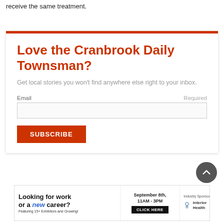receive the same treatment.
Love the Cranbrook Daily Townsman?
Get local stories you won't find anywhere else right to your inbox.
Email   Required
SUBSCRIBE
[Figure (infographic): Advertisement banner: Looking for work or a new career? September 8th, 11AM-3PM, CLICK HERE. Industry Sponsor: Interior Health. Featuring 15+ Exhibitors and Growing!]